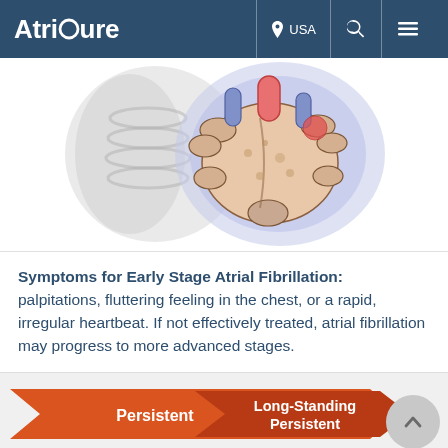AtriCure | USA
[Figure (illustration): Medical illustration of atrial fibrillation showing the heart's atria with pulmonary veins, depicting irregular electrical activity with blue and pink highlights around the cardiac tissue.]
Symptoms for Early Stage Atrial Fibrillation: palpitations, fluttering feeling in the chest, or a rapid, irregular heartbeat. If not effectively treated, atrial fibrillation may progress to more advanced stages.
[Figure (infographic): Orange arrow banner showing two stages: 'Persistent' and 'Long-Standing Persistent' atrial fibrillation stages displayed as chevron arrows.]